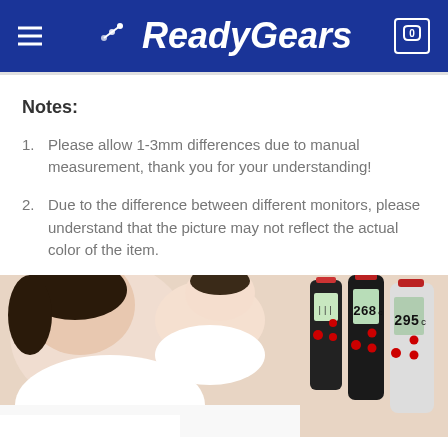ReadyGears
Notes:
Please allow 1-3mm differences due to manual measurement, thank you for your understanding!
Due to the difference between different monitors, please understand that the picture may not reflect the actual color of the item.
[Figure (photo): A woman holding a baby and three digital thermometers in black and white colors showing readings on LCD displays (268 and 295).]